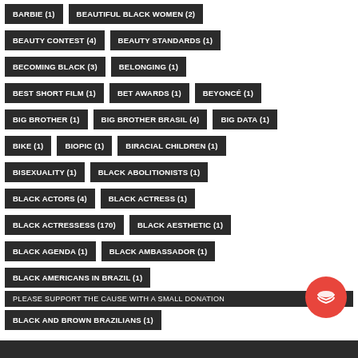BARBIE (1)
BEAUTIFUL BLACK WOMEN (2)
BEAUTY CONTEST (4)
BEAUTY STANDARDS (1)
BECOMING BLACK (3)
BELONGING (1)
BEST SHORT FILM (1)
BET AWARDS (1)
BEYONCÉ (1)
BIG BROTHER (1)
BIG BROTHER BRASIL (4)
BIG DATA (1)
BIKE (1)
BIOPIC (1)
BIRACIAL CHILDREN (1)
BISEXUALITY (1)
BLACK ABOLITIONISTS (1)
BLACK ACTORS (4)
BLACK ACTRESS (1)
BLACK ACTRESSESS (170)
BLACK AESTHETIC (1)
BLACK AGENDA (1)
BLACK AMBASSADOR (1)
BLACK AMERICANS IN BRAZIL (1)
PLEASE SUPPORT THE CAUSE WITH A SMALL DONATION
BLACK AND BROWN BRAZILIANS (1)